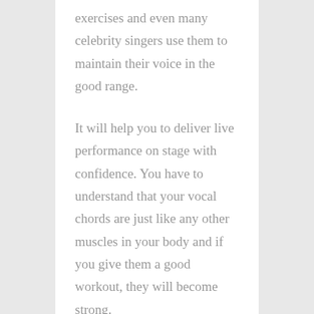exercises and even many celebrity singers use them to maintain their voice in the good range.
It will help you to deliver live performance on stage with confidence. You have to understand that your vocal chords are just like any other muscles in your body and if you give them a good workout, they will become strong.
Every singer must have strong vocal chords in order to be able to sing in various notes with ease. It is not just